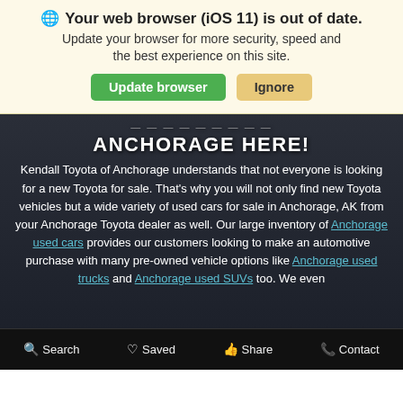🌐 Your web browser (iOS 11) is out of date. Update your browser for more security, speed and the best experience on this site.
ANCHORAGE HERE!
Kendall Toyota of Anchorage understands that not everyone is looking for a new Toyota for sale. That's why you will not only find new Toyota vehicles but a wide variety of used cars for sale in Anchorage, AK from your Anchorage Toyota dealer as well. Our large inventory of Anchorage used cars provides our customers looking to make an automotive purchase with many pre-owned vehicle options like Anchorage used trucks and Anchorage used SUVs too. We even
Search   Saved   Share   Contact